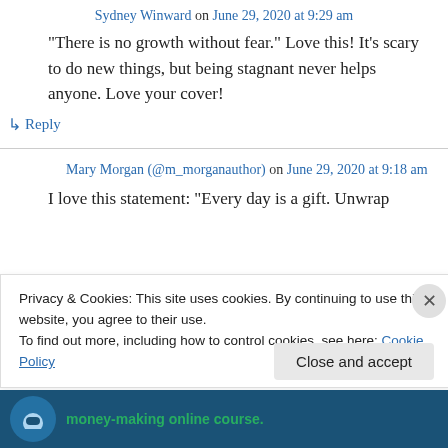Sydney Winward on June 29, 2020 at 9:29 am
“There is no growth without fear.” Love this! It’s scary to do new things, but being stagnant never helps anyone. Love your cover!
↳ Reply
Mary Morgan (@m_morganauthor) on June 29, 2020 at 9:18 am
I love this statement: “Every day is a gift. Unwrap
Privacy & Cookies: This site uses cookies. By continuing to use this website, you agree to their use.
To find out more, including how to control cookies, see here: Cookie Policy
Close and accept